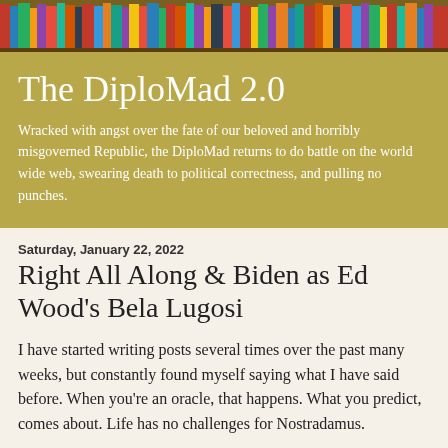[Figure (photo): Bookshelf header image showing colorful books on wooden shelves]
The DiploMad 2.0
Wracked with angst over the fate of our beloved and horribly misgoverned Republic, the DiploMad returns to do battle on the world wide web, swearing death to political correctness, and pulling no punches.
Saturday, January 22, 2022
Right All Along & Biden as Ed Wood's Bela Lugosi
I have started writing posts several times over the past many weeks, but constantly found myself saying what I have said before. When you're an oracle, that happens. What you predict, comes about. Life has no challenges for Nostradamus.